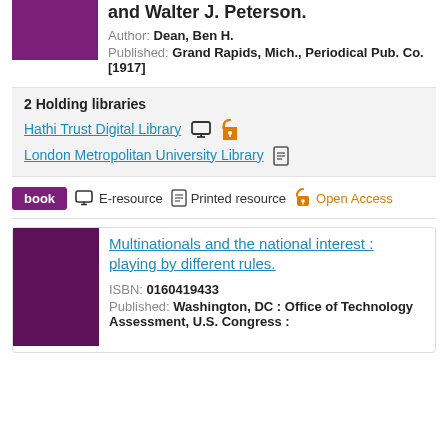and Walter J. Peterson.
Author: Dean, Ben H.
Published: Grand Rapids, Mich., Periodical Pub. Co. [1917]
2 Holding libraries
Hathi Trust Digital Library
London Metropolitan University Library
book  E-resource  Printed resource  Open Access
Multinationals and the national interest : playing by different rules.
ISBN: 0160419433
Published: Washington, DC : Office of Technology Assessment, U.S. Congress :